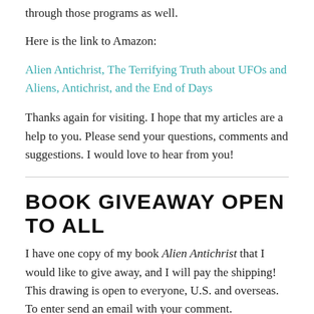through those programs as well.
Here is the link to Amazon:
Alien Antichrist, The Terrifying Truth about UFOs and Aliens, Antichrist, and the End of Days
Thanks again for visiting. I hope that my articles are a help to you. Please send your questions, comments and suggestions. I would love to hear from you!
BOOK GIVEAWAY OPEN TO ALL
I have one copy of my book Alien Antichrist that I would like to give away, and I will pay the shipping!  This drawing is open to everyone, U.S. and overseas. To enter send an email with your comment.